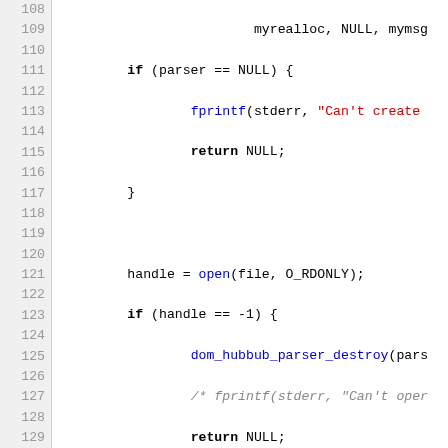[Figure (screenshot): Source code listing in C showing lines 108-137, with syntax highlighting. Keywords in bold black, function calls in blue, string literals in red, comments in gray italic, numeric literals in blue.]